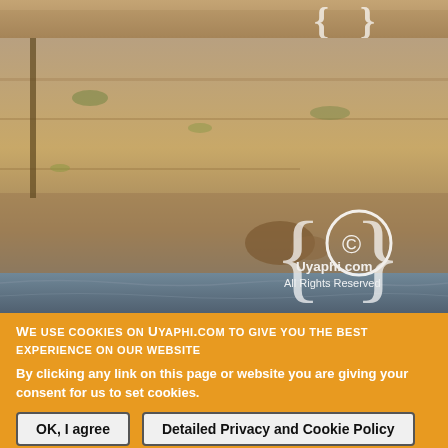[Figure (photo): Partial photo at top showing arid landscape with sandy/rocky terrain]
[Figure (photo): Photo of dry, arid riverbank landscape with sparse vegetation, rocky/sandy brown soil, and water visible at the bottom. A Uyaphi.com copyright watermark with curly braces and a circle-C symbol is shown in the lower right.]
WE USE COOKIES ON UYAPHI.COM TO GIVE YOU THE BEST EXPERIENCE ON OUR WEBSITE
By clicking any link on this page or website you are giving your consent for us to set cookies.
OK, I agree
Detailed Privacy and Cookie Policy